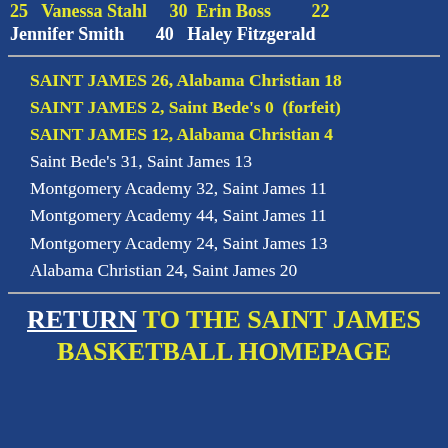25 Vanessa Stahl   30 Erin Boss   22 Jennifer Smith   40 Haley Fitzgerald
SAINT JAMES 26, Alabama Christian 18
SAINT JAMES 2, Saint Bede's 0  (forfeit)
SAINT JAMES 12, Alabama Christian 4
Saint Bede's 31, Saint James 13
Montgomery Academy 32, Saint James 11
Montgomery Academy 44, Saint James 11
Montgomery Academy 24, Saint James 13
Alabama Christian 24, Saint James 20
RETURN TO THE SAINT JAMES BASKETBALL HOMEPAGE